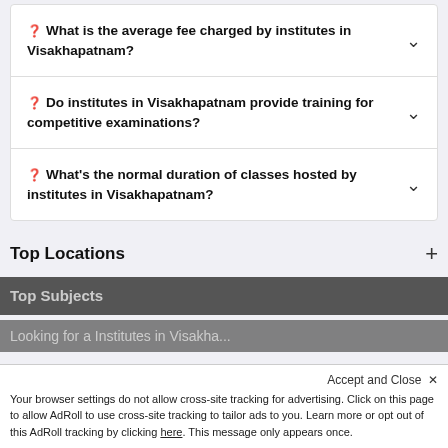❓ What is the average fee charged by institutes in Visakhapatnam?
❓ Do institutes in Visakhapatnam provide training for competitive examinations?
❓ What's the normal duration of classes hosted by institutes in Visakhapatnam?
Top Locations
Top Subjects
Looking for a Institutes in Visakhapatnam
Accept and Close ✕
Your browser settings do not allow cross-site tracking for advertising. Click on this page to allow AdRoll to use cross-site tracking to tailor ads to you. Learn more or opt out of this AdRoll tracking by clicking here. This message only appears once.